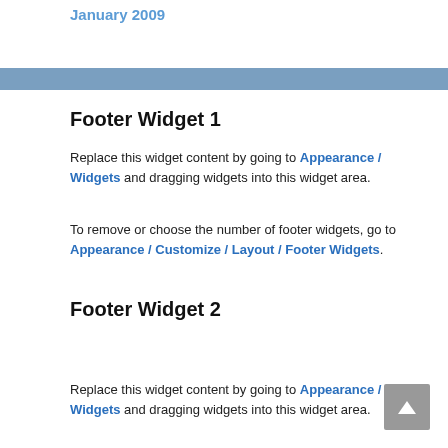January 2009
Footer Widget 1
Replace this widget content by going to Appearance / Widgets and dragging widgets into this widget area.
To remove or choose the number of footer widgets, go to Appearance / Customize / Layout / Footer Widgets.
Footer Widget 2
Replace this widget content by going to Appearance / Widgets and dragging widgets into this widget area.